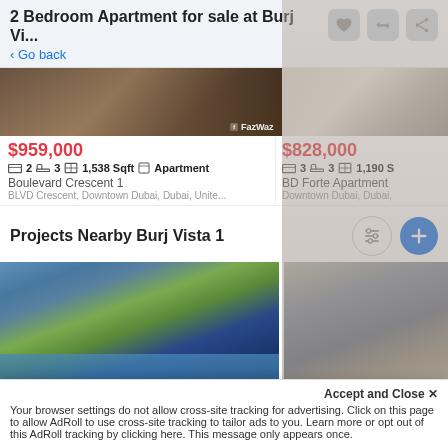2 Bedroom Apartment for sale at Burj Vi... < Go back
[Figure (photo): Property photo for Boulevard Crescent 1 listing with FazWaz watermark]
[Figure (photo): Property photo for BD Forte Apartment listing]
$959,000 2 3 1,538 Sqft Apartment Boulevard Crescent 1 BLVD Crescent, Downtown Dubai, Dubai, Unite...
$828,000 3 3 1,190 S BD Forte Apartment Downtown Dubai, Dubai,
Projects Nearby Burj Vista 1
[Figure (photo): Photo of a residential project near Burj Vista 1 showing pool and towers]
[Figure (photo): Photo of a residential project near Burj Vista 1 showing building facade]
Accept and Close ✕
Your browser settings do not allow cross-site tracking for advertising. Click on this page to allow AdRoll to use cross-site tracking to tailor ads to you. Learn more or opt out of this AdRoll tracking by clicking here. This message only appears once.